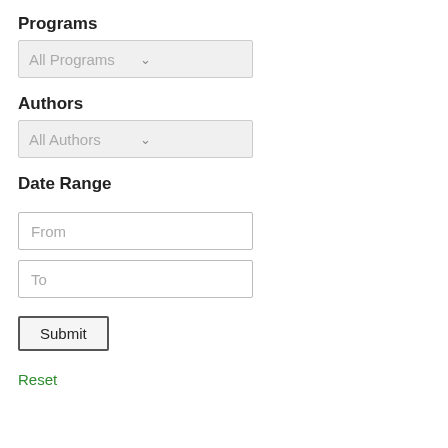Programs
All Programs (dropdown)
Authors
All Authors (dropdown)
Date Range
From (input)
To (input)
Submit
Reset